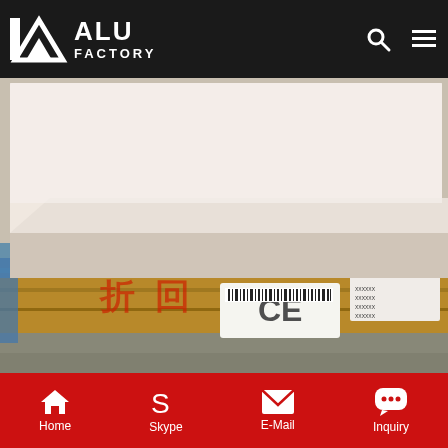ALU FACTORY
[Figure (photo): Aluminum insulation jacketing roll coil on a wooden pallet with CE marking label, photographed outdoors on concrete ground]
polysurlyn film laminated moisture barrier aluminum 1200 aluminum insulation jacketing roll coil_Signi Aluminium. 1200 aluminum insulation jacketing roll coil is commercially pure aluminum, has high corrosion resistance with slightly higher strength than 1050/1060. The alloy also has...
Home  Skype  E-Mail  Inquiry